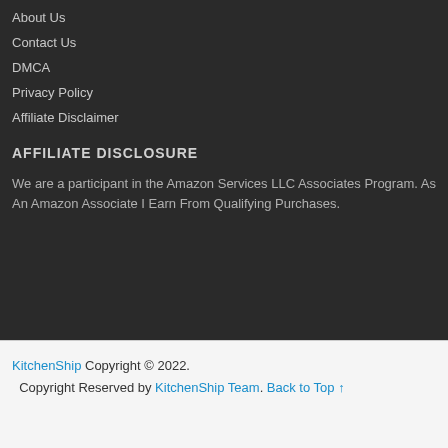About Us
Contact Us
DMCA
Privacy Policy
Affiliate Disclaimer
AFFILIATE DISCLOSURE
We are a participant in the Amazon Services LLC Associates Program. As An Amazon Associate I Earn From Qualifying Purchases.
KitchenShip Copyright © 2022. Copyright Reserved by KitchenShip Team. Back to Top ↑